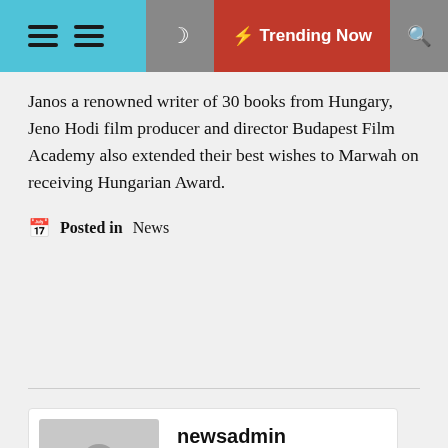Trending Now
Janos a renowned writer of 30 books from Hungary, Jeno Hodi film producer and director Budapest Film Academy also extended their best wishes to Marwah on receiving Hungarian Award.
Posted in  News
newsadmin
Leave a Reply
Your email address will not be published.